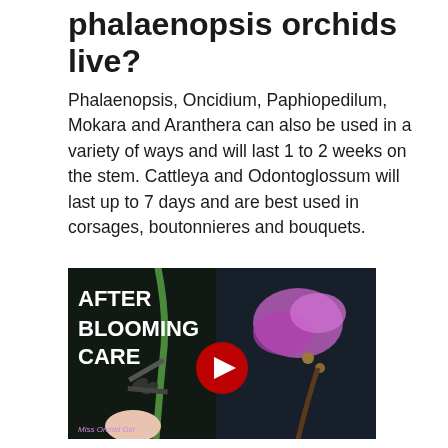phalaenopsis orchids live?
Phalaenopsis, Oncidium, Paphiopedilum, Mokara and Aranthera can also be used in a variety of ways and will last 1 to 2 weeks on the stem. Cattleya and Odontoglossum will last up to 7 days and are best used in corsages, boutonnieres and bouquets.
[Figure (screenshot): YouTube video thumbnail showing orchid after blooming care, with text 'AFTER BLOOMING CARE', a play button in the center, scissors cutting an orchid stem on the left, purple phalaenopsis orchid on the right, and 'Miss Orchid Girl' watermark at bottom left.]